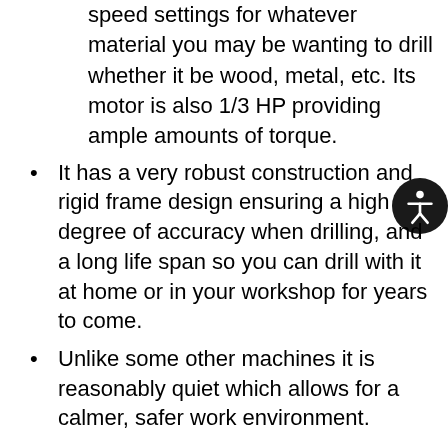speed settings for whatever material you may be wanting to drill whether it be wood, metal, etc. Its motor is also 1/3 HP providing ample amounts of torque.
It has a very robust construction and rigid frame design ensuring a high degree of accuracy when drilling, and a long life span so you can drill with it at home or in your workshop for years to come.
Unlike some other machines it is reasonably quiet which allows for a calmer, safer work environment.
Specifications:
5 different speed settings: 740, 1100, 1530, 2100, 3140 RPM
Spindle travel up to 2 inches